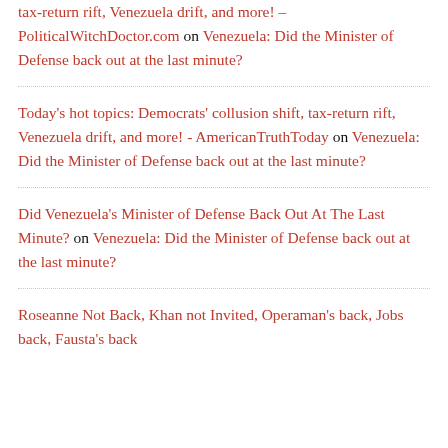tax-return rift, Venezuela drift, and more! – PoliticalWitchDoctor.com on Venezuela: Did the Minister of Defense back out at the last minute?
Today's hot topics: Democrats' collusion shift, tax-return rift, Venezuela drift, and more! - AmericanTruthToday on Venezuela: Did the Minister of Defense back out at the last minute?
Did Venezuela's Minister of Defense Back Out At The Last Minute? on Venezuela: Did the Minister of Defense back out at the last minute?
Roseanne Not Back, Khan not Invited, Operaman's back, Jobs back, Fausta's back